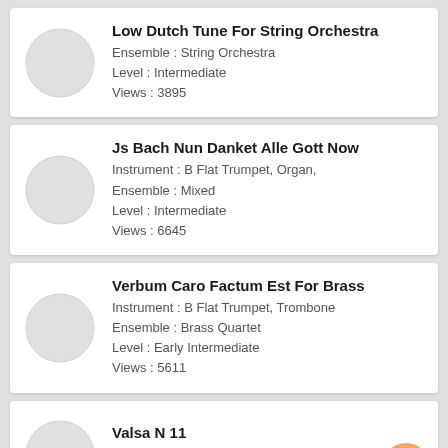Low Dutch Tune For String Orchestra
Ensemble : String Orchestra
Level : Intermediate
Views : 3895
Js Bach Nun Danket Alle Gott Now
Instrument : B Flat Trumpet, Organ,
Ensemble : Mixed
Level : Intermediate
Views : 6645
Verbum Caro Factum Est For Brass
Instrument : B Flat Trumpet, Trombone
Ensemble : Brass Quartet
Level : Early Intermediate
Views : 5611
Valsa N 11
Instrument : Classical Guitar
Ensemble : Mixed